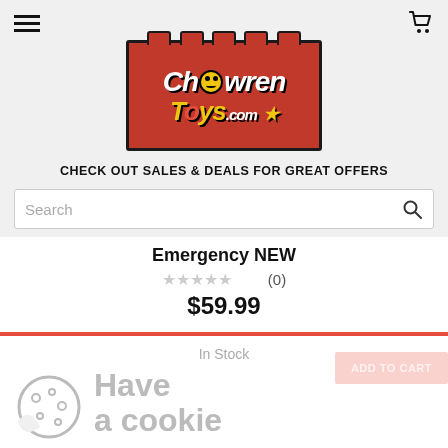[Figure (logo): ChowrenToys.com logo — red brick-styled rectangular logo with castle notch top, bold italic white text 'Chowren' with yellow face character for 'o', and yellow 'Toys.com' text below]
CHECK OUT SALES & DEALS FOR GREAT OFFERS
Search
Emergency NEW
☆☆☆☆☆ (0)
$59.99
In Stock
Have a cookie
ADD TO CART
Accept the use of cookies on this site more information
I Accept